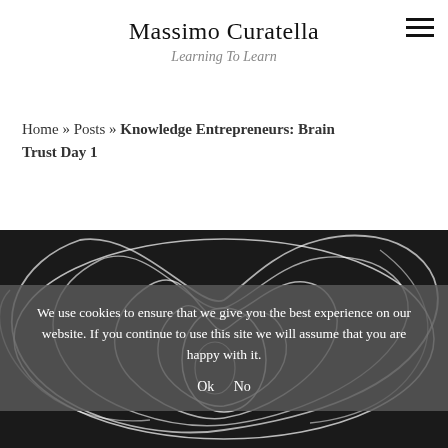Massimo Curatella
Learning To Learn
Home » Posts » Knowledge Entrepreneurs: Brain Trust Day 1
[Figure (illustration): Dark background image with white line art of a rose or spiral floral pattern]
We use cookies to ensure that we give you the best experience on our website. If you continue to use this site we will assume that you are happy with it.
Ok   No